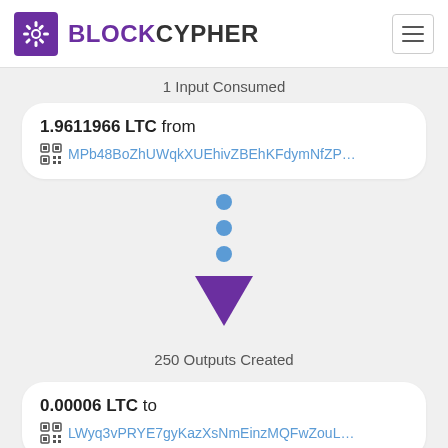[Figure (logo): BlockCypher logo with purple gear icon and wordmark]
1 Input Consumed
1.9611966 LTC from
MPb48BoZhUWqkXUEhivZBEhKFdymNfZP...
[Figure (infographic): Three blue dots and a purple downward triangle arrow indicating transaction flow]
250 Outputs Created
0.00006 LTC to
LWyq3vPRYE7gyKazXsNmEinzMQFwZouL...